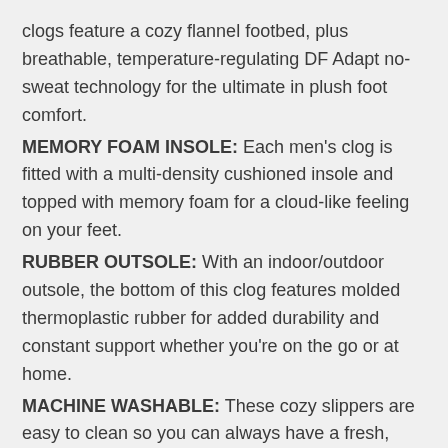clogs feature a cozy flannel footbed, plus breathable, temperature-regulating DF Adapt no-sweat technology for the ultimate in plush foot comfort.
MEMORY FOAM INSOLE: Each men's clog is fitted with a multi-density cushioned insole and topped with memory foam for a cloud-like feeling on your feet.
RUBBER OUTSOLE: With an indoor/outdoor outsole, the bottom of this clog features molded thermoplastic rubber for added durability and constant support whether you're on the go or at home.
MACHINE WASHABLE: These cozy slippers are easy to clean so you can always have a fresh, clean pair. Gentle machine wash cold and air dry flat.